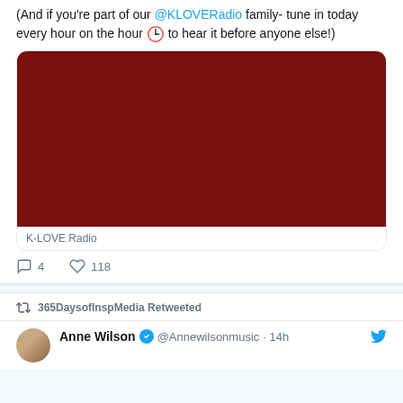(And if you're part of our @KLOVERadio family- tune in today every hour on the hour 🕐 to hear it before anyone else!)
[Figure (screenshot): Dark red/maroon image thumbnail embedded in tweet]
K-LOVE Radio
4 replies, 118 likes
365DaysofInspMedia Retweeted
Anne Wilson @Annewilsonmusic · 14h